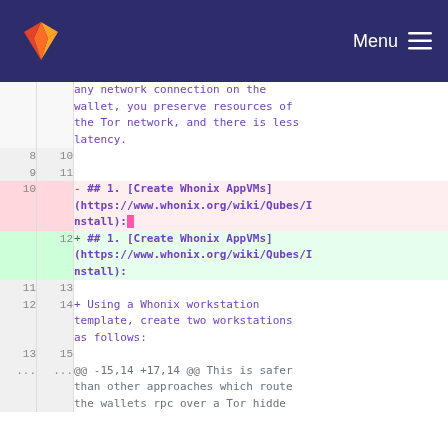Menu (GitLab navigation bar)
| old line | new line | content |
| --- | --- | --- |
|  |  | any network connection on the wallet, you preserve resources of the Tor network, and there is less latency. |
| 8 | 10 |  |
| 9 | 11 |  |
| 10 |  | - ## 1. [Create Whonix AppVMs](https://www.whonix.org/wiki/Qubes/Install): |
|  | 12 | + ## 1. [Create Whonix AppVMs](https://www.whonix.org/wiki/Qubes/Install): |
| 11 | 13 |  |
| 12 | 14 | + Using a Whonix workstation template, create two workstations as follows: |
| 13 | 15 |  |
| ... | ... | @@ -15,14 +17,14 @@ This is safer than other approaches which route the wallets rpc over a Tor hidde |